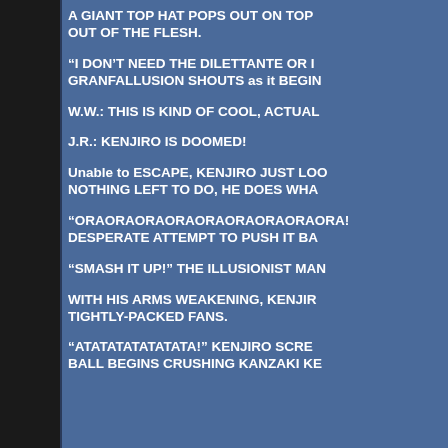A GIANT TOP HAT POPS OUT ON TOP OUT OF THE FLESH.
“I DON’T NEED THE DILETTANTE OR I… GRANFALLUSION SHOUTS as it BEGIN…
W.W.: THIS IS KIND OF COOL, ACTUAL…
J.R.: KENJIRO IS DOOMED!
Unable to ESCAPE, KENJIRO JUST LOO… NOTHING LEFT TO DO, HE DOES WHA…
“ORAORAORAORAORAORAORAORAORA!”… DESPERATE ATTEMPT TO PUSH IT BA…
“SMASH IT UP!” THE ILLUSIONIST MAN…
WITH HIS ARMS WEAKENING, KENJIR… TIGHTLY-PACKED FANS.
“ATATATATATATATA!” KENJIRO SCRE… BALL BEGINS CRUSHING KANZAKI KE…